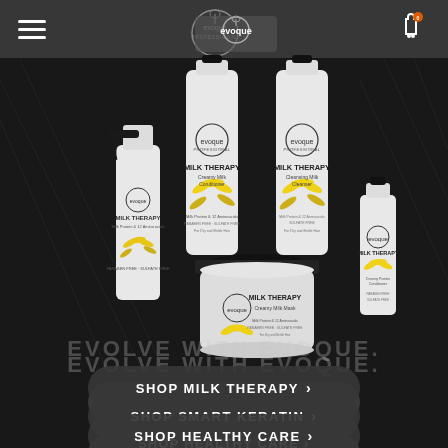[Figure (photo): Screenshot of Evoque Professional hair care e-commerce website showing Milk Therapy product range (shampoo, conditioner, cleansing milk, mask, and spray) displayed against a dark monochrome background with hair texture. Navigation bar with hamburger menu and cart icon at top. Tagline 'EVOLVE WITH EVOQUE.' overlaid. Three call-to-action buttons: SHOP MILK THERAPY, SHOP SMART KERATIN, SHOP HEALTHY CARE.]
EVOLVE WITH EVOQUE.
SHOP MILK THERAPY >
SHOP SMART KERATIN >
SHOP HEALTHY CARE >